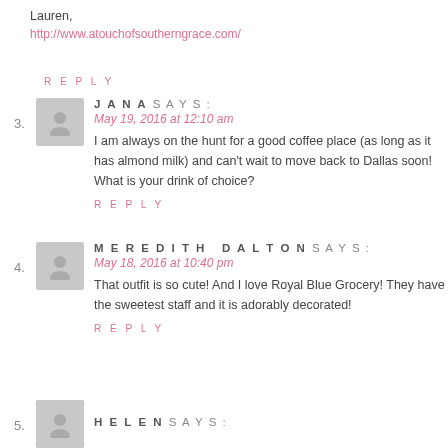Lauren,
http://www.atouchofsoutherngrace.com/
REPLY
3. JANA SAYS: May 19, 2016 at 12:10 am — I am always on the hunt for a good coffee place (as long as it has almond milk) and can't wait to move back to Dallas soon! What is your drink of choice?
REPLY
4. MEREDITH DALTON SAYS: May 18, 2016 at 10:40 pm — That outfit is so cute! And I love Royal Blue Grocery! They have the sweetest staff and it is adorably decorated!
REPLY
5. HELEN SAYS: